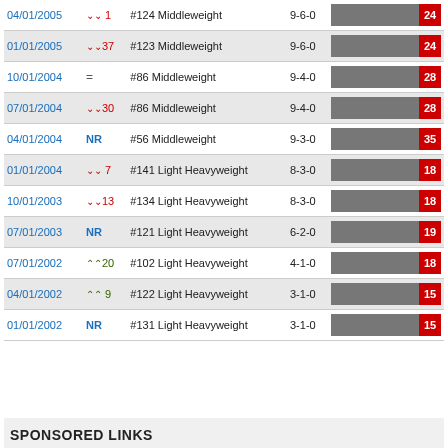| Date | Change | Rank/Class | Record | Bar |
| --- | --- | --- | --- | --- |
| 04/01/2005 | ↓1 | #124 Middleweight | 9-6-0 | 24 |
| 01/01/2005 | ↓37 | #123 Middleweight | 9-6-0 | 24 |
| 10/01/2004 | = | #86 Middleweight | 9-4-0 | 28 |
| 07/01/2004 | ↓30 | #86 Middleweight | 9-4-0 | 28 |
| 04/01/2004 | NR | #56 Middleweight | 9-3-0 | 35 |
| 01/01/2004 | ↓7 | #141 Light Heavyweight | 8-3-0 | 18 |
| 10/01/2003 | ↓13 | #134 Light Heavyweight | 8-3-0 | 18 |
| 07/01/2003 | NR | #121 Light Heavyweight | 6-2-0 | 19 |
| 07/01/2002 | ↑20 | #102 Light Heavyweight | 4-1-0 | 18 |
| 04/01/2002 | ↑9 | #122 Light Heavyweight | 3-1-0 | 15 |
| 01/01/2002 | NR | #131 Light Heavyweight | 3-1-0 | 15 |
SPONSORED LINKS